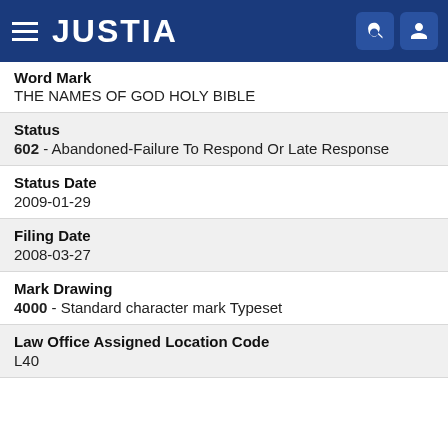[Figure (logo): Justia website header bar with hamburger menu, JUSTIA logo in white on dark blue background, and search and user icons on the right]
Word Mark
THE NAMES OF GOD HOLY BIBLE
Status
602 - Abandoned-Failure To Respond Or Late Response
Status Date
2009-01-29
Filing Date
2008-03-27
Mark Drawing
4000 - Standard character mark Typeset
Law Office Assigned Location Code
L40